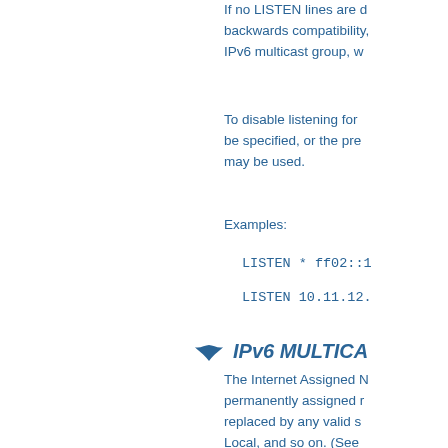If no LISTEN lines are d backwards compatibility, IPv6 multicast group, w
To disable listening for be specified, or the pre may be used.
Examples:
LISTEN * ff02::1
LISTEN 10.11.12.
IPv6 MULTICA
The Internet Assigned N permanently assigned r replaced by any valid s Local, and so on. (See definitions.) xdm defaul most closely match the